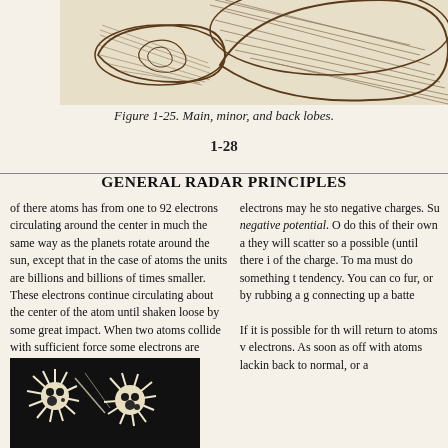[Figure (illustration): Partial view of antenna lobes diagram showing hatched/shaded curved lobe shapes against a beige background - top portion of Figure 1-25]
Figure 1-25. Main, minor, and back lobes.
1-28
GENERAL RADAR PRINCIPLES
of there atoms has from one to 92 electrons circulating around the center in much the same way as the planets rotate around the sun, except that in the case of atoms the units are billions and billions of times smaller. These electrons continue circulating about the center of the atom until shaken loose by some great impact. When two atoms collide with sufficient force some electrons are shaken loose.
electrons may he sto negative charges. Su negative potential. O do this of their own a they will scatter so a possible (until there i of the charge. To ma must do something t tendency. You can co fur, or by rubbing a g connecting up a batt
[Figure (illustration): Black and white illustration showing stylized spiky/energized atoms or particles on a dark background]
If it is possible for th will return to atoms v electrons. As soon as off with atoms lackin back to normal, or a